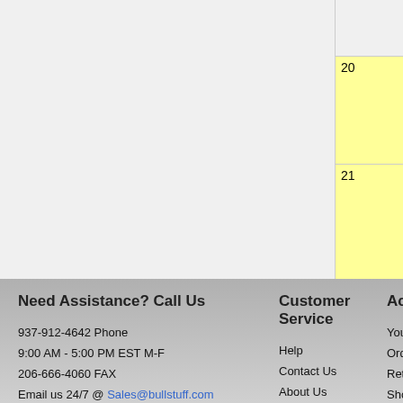| Row | Qty |
| --- | --- |
|  |  |
| 20 |  |
| 21 |  |
* Qty how m
Need Assistance? Call Us
937-912-4642 Phone
9:00 AM - 5:00 PM EST M-F
206-666-4060 FAX
Email us 24/7 @ Sales@bullstuff.com
Customer Service
Help
Contact Us
About Us
Terms & Conditions
Privacy Policy
Shipping & Returns
Ac
You
Ord
Ret
Sho
Sav